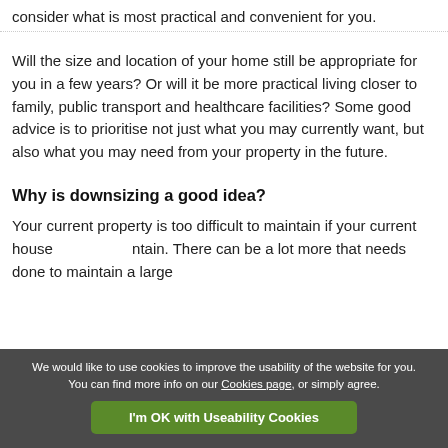consider what is most practical and convenient for you.
Will the size and location of your home still be appropriate for you in a few years? Or will it be more practical living closer to family, public transport and healthcare facilities? Some good advice is to prioritise not just what you may currently want, but also what you may need from your property in the future.
Why is downsizing a good idea?
Your current property is too difficult to maintain if your current house… maintain. There can be a lot more that needs done to maintain a large…
We would like to use cookies to improve the usability of the website for you. You can find more info on our Cookies page, or simply agree.
I'm OK with Useability Cookies